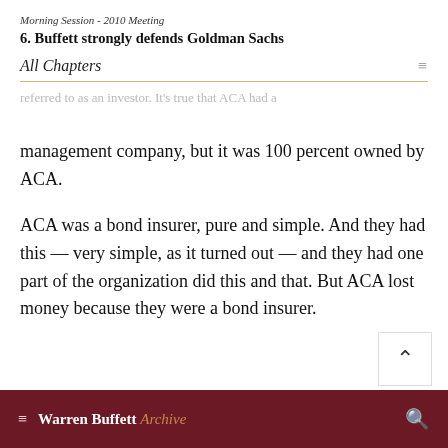Morning Session - 2010 Meeting
6. Buffett strongly defends Goldman Sachs
All Chapters
referred to as an investor. It's true that ACA had a management company, but it was 100 percent owned by ACA.
ACA was a bond insurer, pure and simple. And they had this — very simple, as it turned out — and they had one part of the organization did this and that. But ACA lost money because they were a bond insurer.
Warren Buffett Archive